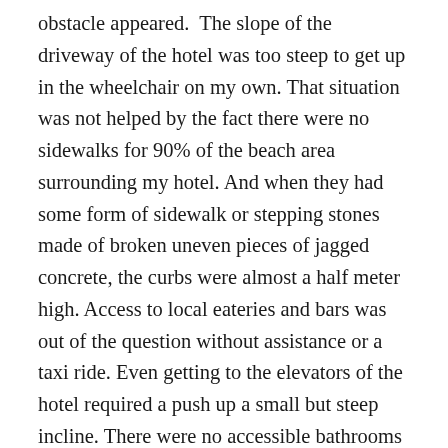obstacle appeared. The slope of the driveway of the hotel was too steep to get up in the wheelchair on my own. That situation was not helped by the fact there were no sidewalks for 90% of the beach area surrounding my hotel. And when they had some form of sidewalk or stepping stones made of broken uneven pieces of jagged concrete, the curbs were almost a half meter high. Access to local eateries and bars was out of the question without assistance or a taxi ride. Even getting to the elevators of the hotel required a push up a small but steep incline. There were no accessible bathrooms except in my room on the 29th floor. I could not access the café in the lobby as it had a large step as an impediment. Travel while injured requires impeccable planning.